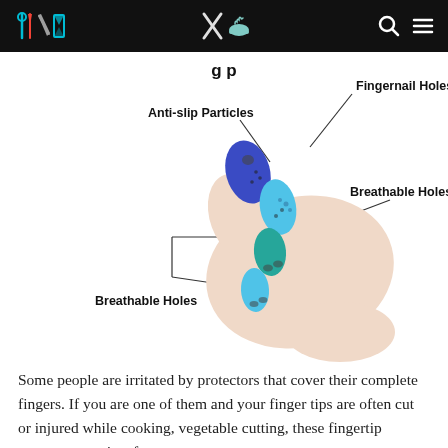Navigation bar with cooking/kitchen icons
[Figure (illustration): A hand holding blue and teal silicone fingertip protectors with labeled annotations: Fingernail Holes (top), Anti-slip Particles (upper left), Breathable Holes (right), Breathable Holes (bottom left). Lines point from labels to the corresponding features on the finger protectors.]
Some people are irritated by protectors that cover their complete fingers. If you are one of them and your finger tips are often cut or injured while cooking, vegetable cutting, these fingertip protectors are just for you.